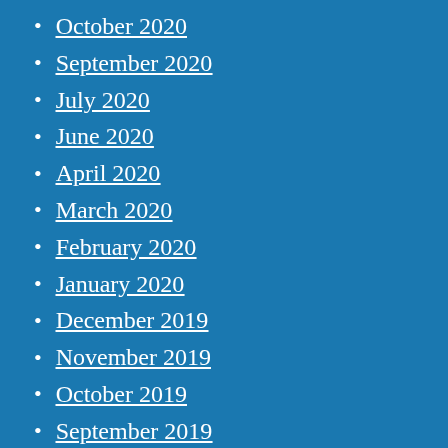October 2020
September 2020
July 2020
June 2020
April 2020
March 2020
February 2020
January 2020
December 2019
November 2019
October 2019
September 2019
August 2019
July 2019
June 2019
May 2019
April 2019